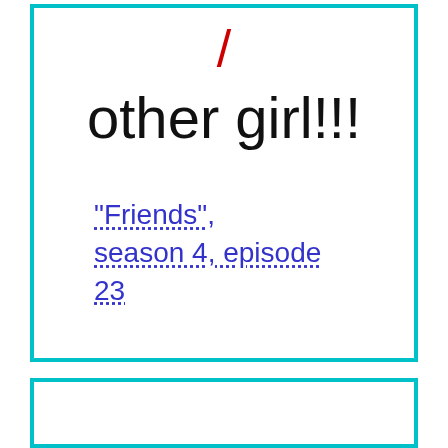other girl!!!
"Friends", season 4, episode 23